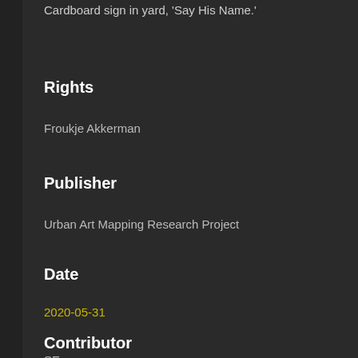Cardboard sign in yard, 'Say His Name.'
Rights
Froukje Akkerman
Publisher
Urban Art Mapping Research Project
Date
2020-05-31
Contributor
SE